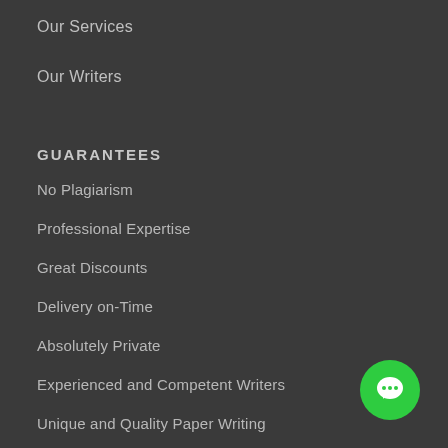Our Services
Our Writers
GUARANTEES
No Plagiarism
Professional Expertise
Great Discounts
Delivery on-Time
Absolutely Private
Experienced and Competent Writers
Unique and Quality Paper Writing
[Figure (illustration): Green circular chat/messaging button with white speech bubble icon, positioned in bottom-right corner]